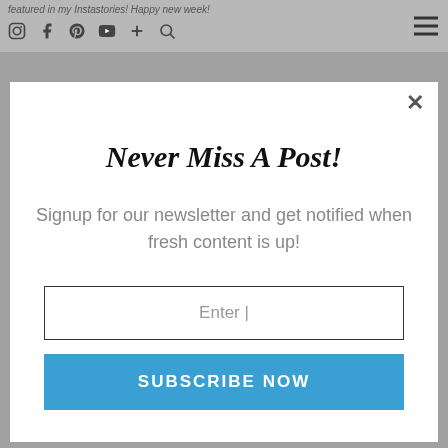featured in my Instastories! Happy new week!
Never Miss A Post!
Signup for our newsletter and get notified when fresh content is up!
Enter |
SUBSCRIBE NOW